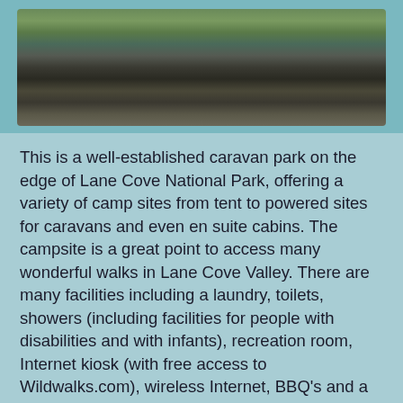[Figure (photo): Outdoor photo showing a grassy mound or hill with dark soil/mulch, natural outdoor setting]
This is a well-established caravan park on the edge of Lane Cove National Park, offering a variety of camp sites from tent to powered sites for caravans and even en suite cabins. The campsite is a great point to access many wonderful walks in Lane Cove Valley. There are many facilities including a laundry, toilets, showers (including facilities for people with disabilities and with infants), recreation room, Internet kiosk (with free access to Wildwalks.com), wireless Internet, BBQ's and a pool. There is bike hire available and the reception has basic supplies for sale (bread, milk, snacks, newspapers).
(0km) Lane Cove Tourist Park → 13 Cottonwood Glen